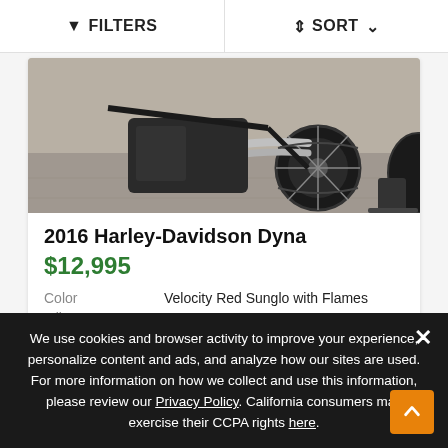FILTERS | SORT
[Figure (photo): Partial view of a Harley-Davidson Dyna motorcycle showing exhaust pipes, rear wheel, and wheel stand on a tiled floor]
2016 Harley-Davidson Dyna
$12,995
Color   Velocity Red Sunglo with Flames
Miles   18,917
[Figure (photo): Classic Iron dealer listing card showing 28 photos badge, heart 1 and compare buttons, and ClassicIron logo]
We use cookies and browser activity to improve your experience, personalize content and ads, and analyze how our sites are used. For more information on how we collect and use this information, please review our Privacy Policy. California consumers may exercise their CCPA rights here.